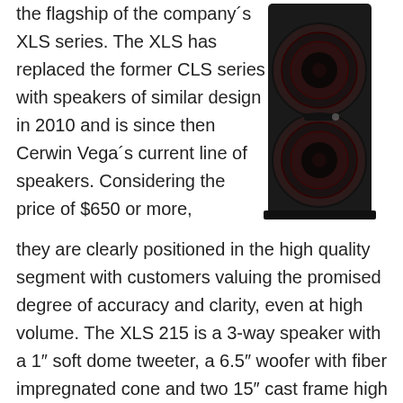the flagship of the company´s XLS series. The XLS has replaced the former CLS series with speakers of similar design in 2010 and is since then Cerwin Vega´s current line of speakers. Considering the price of $650 or more,
[Figure (photo): A tall black tower speaker (Cerwin Vega XLS 215) photographed against a white background, showing two large woofers and a dark enclosure.]
they are clearly positioned in the high quality segment with customers valuing the promised degree of accuracy and clarity, even at high volume. The XLS 215 is a 3-way speaker with a 1″ soft dome tweeter, a 6.5″ woofer with fiber impregnated cone and two 15″ cast frame high excursion woofers. With its intimidating size of 50″ x 17″